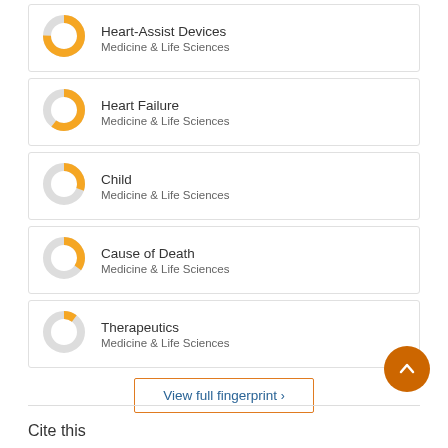[Figure (donut-chart): Donut chart ~75% orange fill]
Heart-Assist Devices
Medicine & Life Sciences
[Figure (donut-chart): Donut chart ~60% orange fill]
Heart Failure
Medicine & Life Sciences
[Figure (donut-chart): Donut chart ~30% orange fill]
Child
Medicine & Life Sciences
[Figure (donut-chart): Donut chart ~35% orange fill]
Cause of Death
Medicine & Life Sciences
[Figure (donut-chart): Donut chart ~10% orange fill]
Therapeutics
Medicine & Life Sciences
View full fingerprint ›
Cite this